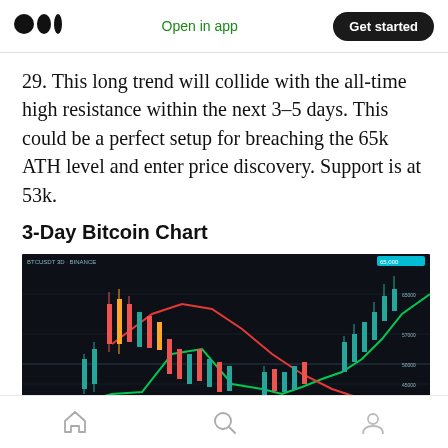Medium logo | Open in app | Get started
29. This long trend will collide with the all-time high resistance within the next 3–5 days. This could be a perfect setup for breaching the 65k ATH level and enter price discovery. Support is at 53k.
3-Day Bitcoin Chart
[Figure (screenshot): 3-Day Bitcoin candlestick chart screenshot from a trading platform (likely TradingView), showing BTC/USD price history with green and red candlesticks, a green upward-trending moving average line, a red downward-curving moving average line, horizontal support/resistance lines, dark background. Price action shows a peak followed by a decline and recovery.]
Home | Search | Profile